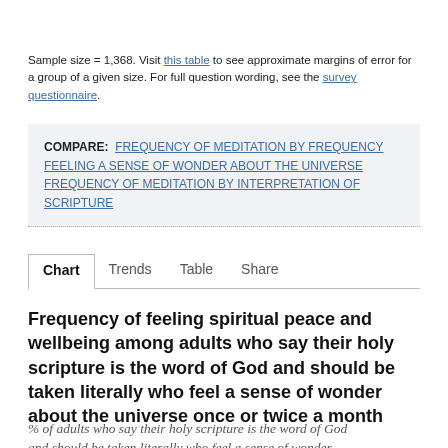Sample size = 1,368. Visit this table to see approximate margins of error for a group of a given size. For full question wording, see the survey questionnaire.
COMPARE: FREQUENCY OF MEDITATION BY FREQUENCY FEELING A SENSE OF WONDER ABOUT THE UNIVERSE  FREQUENCY OF MEDITATION BY INTERPRETATION OF SCRIPTURE
Chart  Trends  Table  Share
Frequency of feeling spiritual peace and wellbeing among adults who say their holy scripture is the word of God and should be taken literally who feel a sense of wonder about the universe once or twice a month
% of adults who say their holy scripture is the word of God and should be taken literally who feel a sense of wonder about the universe once or twice a month